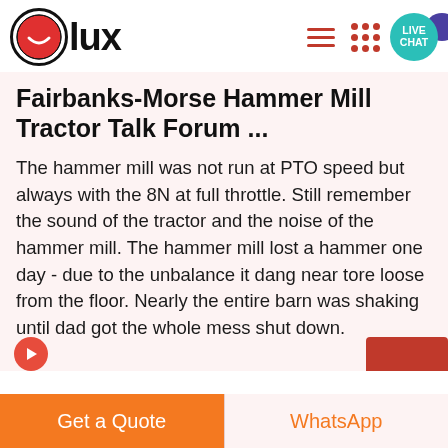[Figure (logo): Olux logo: red circle with white smiley face, followed by bold text 'lux']
Fairbanks-Morse Hammer Mill - Tractor Talk Forum ...
The hammer mill was not run at PTO speed but always with the 8N at full throttle. Still remember the sound of the tractor and the noise of the hammer mill. The hammer mill lost a hammer one day - due to the unbalance it dang near tore loose from the floor. Nearly the entire barn was shaking until dad got the whole mess shut down.
Get a Quote   WhatsApp